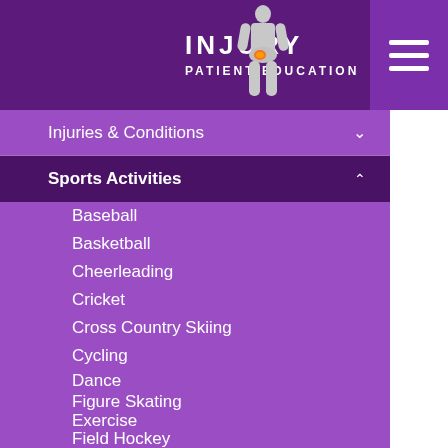INJURY PATIENT EDUCATION
Injuries & Conditions
Sports Activities
Baseball
Basketball
Cheerleading
Cricket
Cross Country Skiing
Cycling
Dance
Figure Skating
Exercise
Field Hockey
Football
Golf
Hockey
Kickboxing